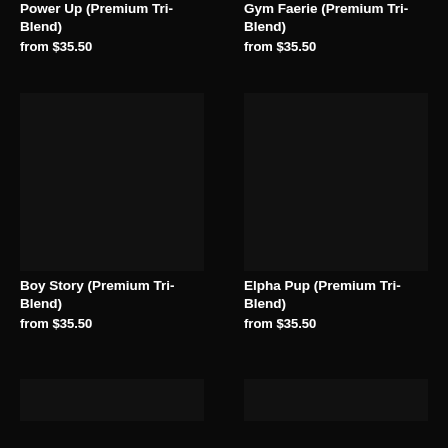Power Up (Premium Tri-Blend)
from $35.50
Gym Faerie (Premium Tri-Blend)
from $35.50
[Figure (photo): Product image placeholder - dark/black square for Boy Story Premium Tri-Blend]
Boy Story (Premium Tri-Blend)
from $35.50
[Figure (photo): Product image placeholder - dark/black square for Elpha Pup Premium Tri-Blend]
Elpha Pup (Premium Tri-Blend)
from $35.50
[Figure (photo): Product image placeholder - dark/black square bottom left]
[Figure (photo): Product image placeholder - dark/black square bottom right]